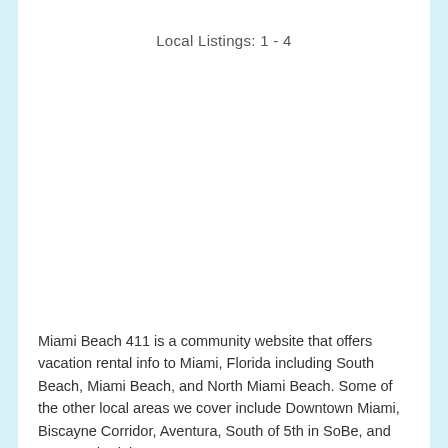Local Listings: 1 - 4
Miami Beach 411 is a community website that offers vacation rental info to Miami, Florida including South Beach, Miami Beach, and North Miami Beach. Some of the other local areas we cover include Downtown Miami, Biscayne Corridor, Aventura, South of 5th in SoBe, and Fort Lauderdale.
Unlike hotels with per night pricing, the handpicked properties above offer a set price for an entire vacation. Most of the condos have